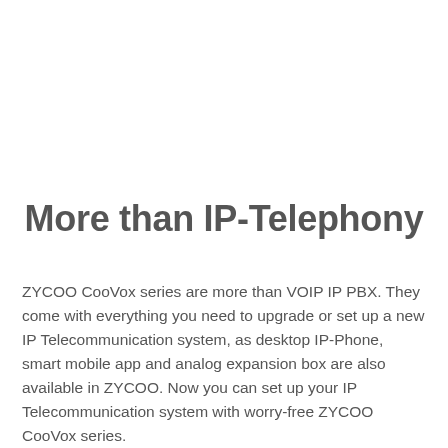More than IP-Telephony
ZYCOO CooVox series are more than VOIP IP PBX. They come with everything you need to upgrade or set up a new IP Telecommunication system, as desktop IP-Phone, smart mobile app and analog expansion box are also available in ZYCOO. Now you can set up your IP Telecommunication system with worry-free ZYCOO CooVox series.